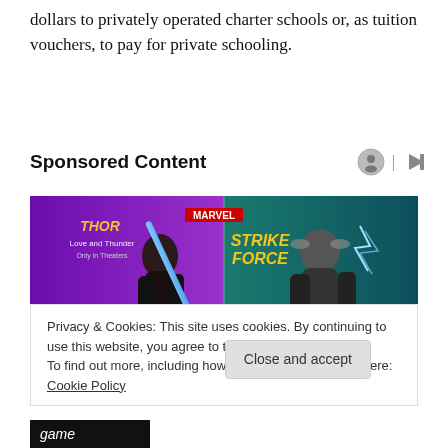dollars to privately operated charter schools or, as tuition vouchers, to pay for private schooling.
Sponsored Content
[Figure (illustration): Marvel Strike Force advertisement featuring two female superhero characters from Thor Love and Thunder, with purple and teal backgrounds and lightning effects. Logo text reads 'THOR Love and Thunder' and 'Marvel Strike Force'.]
Privacy & Cookies: This site uses cookies. By continuing to use this website, you agree to their use.
To find out more, including how to control cookies, see here: Cookie Policy
Close and accept
game